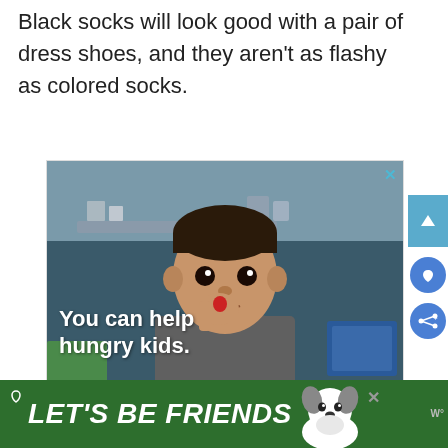Black socks will look good with a pair of dress shoes, and they aren't as flashy as colored socks.
[Figure (photo): Advertisement for No Kid Hungry showing a young child with hand near mouth, overlay text 'You can help hungry kids.' and an orange bottom bar with 'LEARN HOW' button and No Kid Hungry logo.]
[Figure (photo): Bottom banner advertisement with green background, 'LET'S BE FRIENDS' text in white italic, dog mascot illustration on right.]